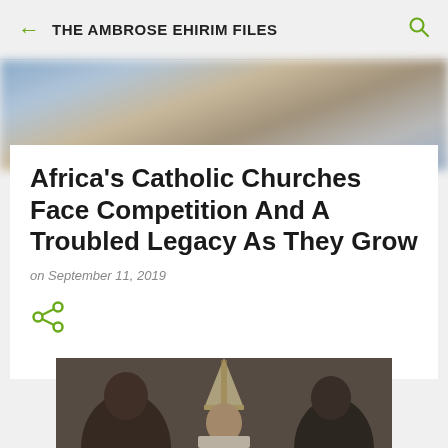THE AMBROSE EHIRIM FILES
[Figure (photo): Blurred background photo of people, used as header image]
Africa's Catholic Churches Face Competition And A Troubled Legacy As They Grow
on September 11, 2019
[Figure (illustration): Share icon (three connected dots forming a share symbol), green colored]
[Figure (photo): Photo of a Catholic bishop wearing a mitre (tall ceremonial hat), surrounded by other clergy members]